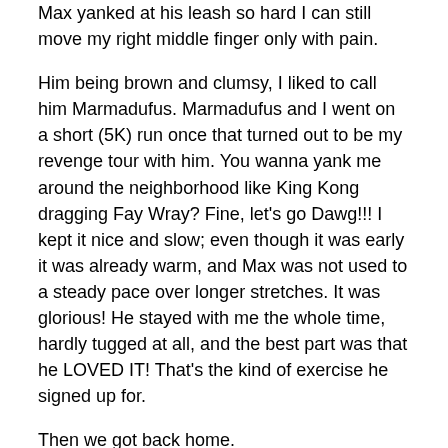Max yanked at his leash so hard I can still move my right middle finger only with pain.
Him being brown and clumsy, I liked to call him Marmadufus. Marmadufus and I went on a short (5K) run once that turned out to be my revenge tour with him. You wanna yank me around the neighborhood like King Kong dragging Fay Wray? Fine, let's go Dawg!!! I kept it nice and slow; even though it was early it was already warm, and Max was not used to a steady pace over longer stretches. It was glorious! He stayed with me the whole time, hardly tugged at all, and the best part was that he LOVED IT! That's the kind of exercise he signed up for.
Then we got back home.
I opened the gate. He dragged his heavy paws onto the property while I closed the gate. And that is where he collapsed, exhausted. I could barely get the leash off